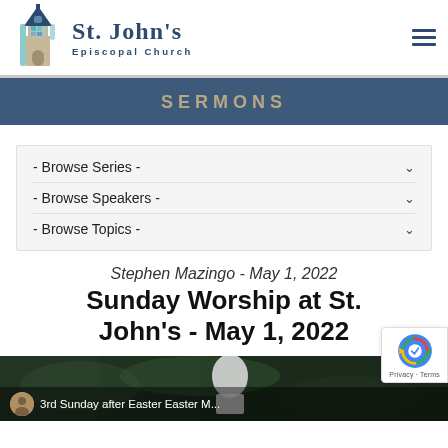[Figure (logo): St. John's Episcopal Church logo with stained glass tower graphic and church name]
SERMONS
- Browse Series -
- Browse Speakers -
- Browse Topics -
Stephen Mazingo - May 1, 2022
Sunday Worship at St. John's - May 1, 2022
[Figure (screenshot): Video thumbnail showing 3rd Sunday after Easter Easter M... with church logo icon]